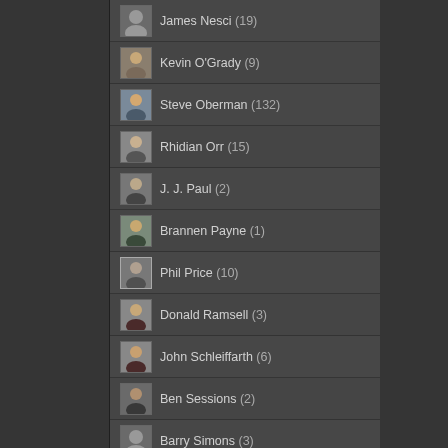James Nesci (19)
Kevin O'Grady (9)
Steve Oberman (132)
Rhidian Orr (15)
J. J. Paul (2)
Brannen Payne (1)
Phil Price (10)
Donald Ramsell (3)
John Schleiffarth (6)
Ben Sessions (2)
Barry Simons (3)
Adam Stolte (1)